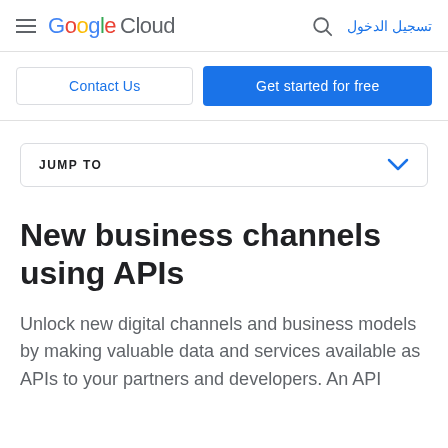Google Cloud — تسجيل الدخول
Contact Us
Get started for free
JUMP TO
New business channels using APIs
Unlock new digital channels and business models by making valuable data and services available as APIs to your partners and developers. An API